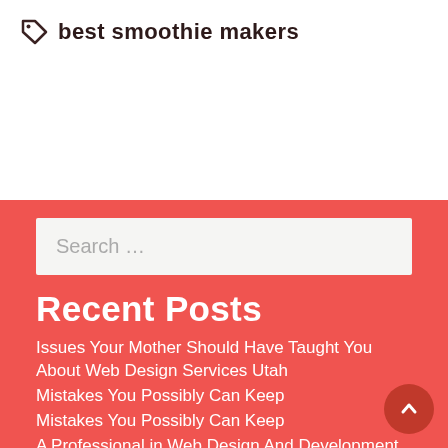best smoothie makers
Search ...
Recent Posts
Issues Your Mother Should Have Taught You About Web Design Services Utah
Mistakes You Possibly Can Keep
Mistakes You Possibly Can Keep
A Professional in Web Design And Development Without Realizing It